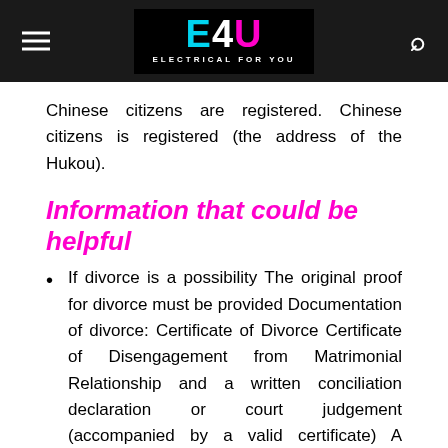E4U — ELECTRICAL FOR YOU
Chinese citizens are registered. Chinese citizens is registered (the address of the Hukou).
Information that could be helpful
If divorce is a possibility The original proof for divorce must be provided Documentation of divorce: Certificate of Divorce Certificate of Disengagement from Matrimonial Relationship and a written conciliation declaration or court judgement (accompanied by a valid certificate) A testimonial of divorce